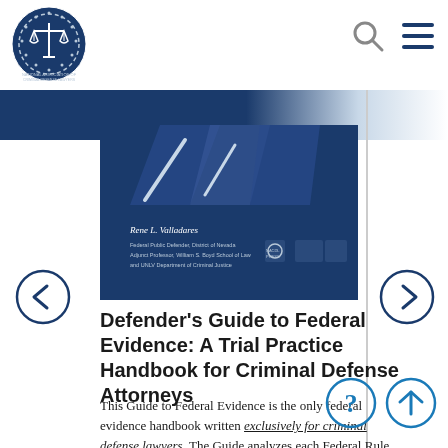[Figure (logo): National Association of Criminal Defense Lawyers circular logo with scales of justice]
[Figure (photo): Book cover of Defender's Guide to Federal Evidence by Rene L. Valladares]
Defender's Guide to Federal Evidence: A Trial Practice Handbook for Criminal Defense Attorneys
This Guide to Federal Evidence is the only federal evidence handbook written exclusively for criminal defense lawyers. The Guide analyzes each Federal Rule of Evidence and outlines the main evidentiary issues that confront